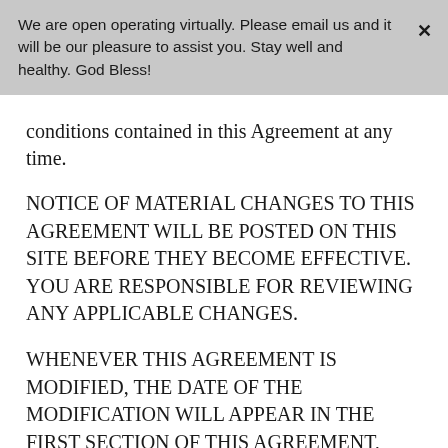We are open operating virtually. Please email us and it will be our pleasure to assist you. Stay well and healthy. God Bless!
conditions contained in this Agreement at any time.
NOTICE OF MATERIAL CHANGES TO THIS AGREEMENT WILL BE POSTED ON THIS SITE BEFORE THEY BECOME EFFECTIVE. YOU ARE RESPONSIBLE FOR REVIEWING ANY APPLICABLE CHANGES.
WHENEVER THIS AGREEMENT IS MODIFIED, THE DATE OF THE MODIFICATION WILL APPEAR IN THE FIRST SECTION OF THIS AGREEMENT, ABOVE.
YOU AGREE THAT YOUR CONTINUED USE OF THE SITE FOLLOWING ANY CHANGES TO THIS AGREEMENT AND AFTER THE CHANGES TAKE EFFECT WILL CONSTITUTE